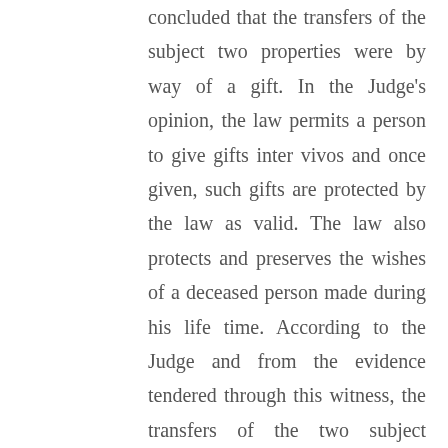concluded that the transfers of the subject two properties were by way of a gift. In the Judge's opinion, the law permits a person to give gifts inter vivos and once given, such gifts are protected by the law as valid. The law also protects and preserves the wishes of a deceased person made during his life time. According to the Judge and from the evidence tendered through this witness, the transfers of the two subject properties were registered as required as there was